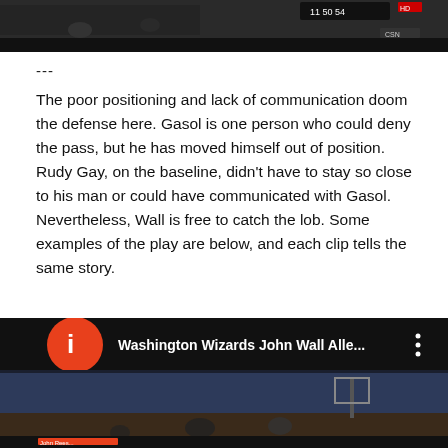[Figure (screenshot): Top portion of a basketball game video screenshot showing arena scoreboard and CSN HD broadcast overlay]
---
The poor positioning and lack of communication doom the defense here. Gasol is one person who could deny the pass, but he has moved himself out of position. Rudy Gay, on the baseline, didn't have to stay so close to his man or could have communicated with Gasol. Nevertheless, Wall is free to catch the lob. Some examples of the play are below, and each clip tells the same story.
[Figure (screenshot): YouTube video thumbnail showing Washington Wizards John Wall Alle... video with orange channel icon and basketball arena background]